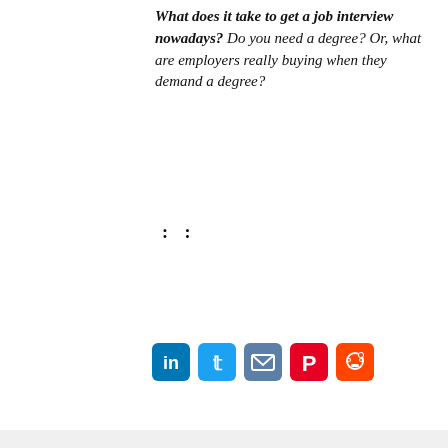What does it take to get a job interview nowadays? Do you need a degree? Or, what are employers really buying when they demand a degree?
: :
[Figure (other): Social sharing icons: LinkedIn, Twitter, Email, Pinterest, Reddit]
Don't Miss:
Don't squander a good personal referral when looking for a job
[Figure (other): Seamless food delivery advertisement banner with pizza image, Seamless logo, and ORDER NOW button]